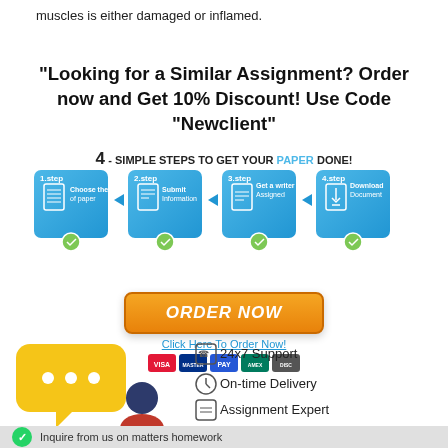muscles is either damaged or inflamed.
"Looking for a Similar Assignment? Order now and Get 10% Discount! Use Code "Newclient"
[Figure (infographic): 4 simple steps to get your paper done: 1.step Choose the type of paper, 2.step Submit Information, 3.step Get a writer Assigned, 4.step Download Document. With an ORDER NOW button and payment icons below.]
[Figure (illustration): Chat bubble illustration with person at laptop. Features listed: 24x7 Support, On-time Delivery, Assignment Expert. WhatsApp bar at bottom: Inquire from us on matters homework.]